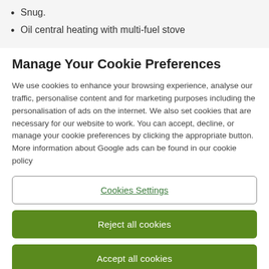Snug.
Oil central heating with multi-fuel stove
Manage Your Cookie Preferences
We use cookies to enhance your browsing experience, analyse our traffic, personalise content and for marketing purposes including the personalisation of ads on the internet. We also set cookies that are necessary for our website to work. You can accept, decline, or manage your cookie preferences by clicking the appropriate button. More information about Google ads can be found in our cookie policy
Cookies Settings
Reject all cookies
Accept all cookies